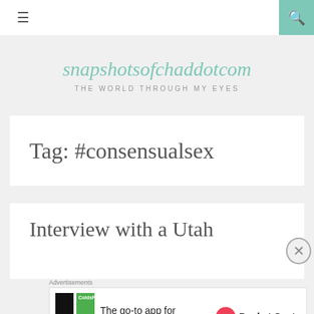≡  [search icon]
snapshotsofchaddotcom
THE WORLD THROUGH MY EYES
Tag: #consensualsex
Interview with a Utah
[Figure (other): Advertisement banner: Pocket Casts app — 'The go-to app for podcast lovers.' with Pocket Casts logo]
Advertisements